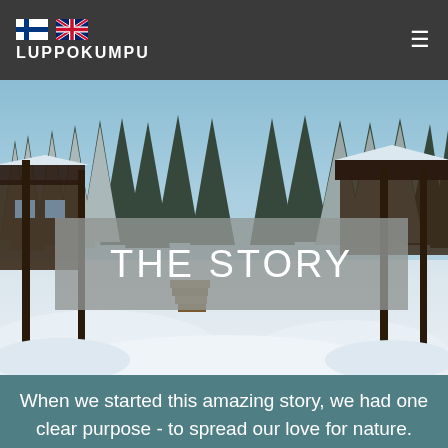LUPPOKUMPU
[Figure (photo): Winter landscape photo showing snow-covered log cabin and trees in a Finnish forest setting, with wooden stairs and deep snow in the foreground]
THE STORY
When we started this amazing story, we had one clear purpose - to spread our love for nature.